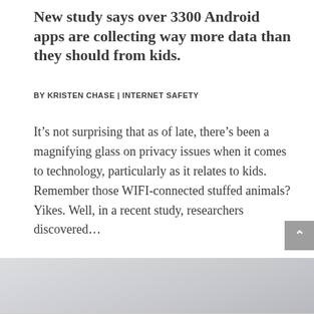New study says over 3300 Android apps are collecting way more data than they should from kids.
BY KRISTEN CHASE | INTERNET SAFETY
It’s not surprising that as of late, there’s been a magnifying glass on privacy issues when it comes to technology, particularly as it relates to kids. Remember those WIFI-connected stuffed animals? Yikes. Well, in a recent study, researchers discovered…
[Figure (photo): Partial view of a light grey/blue background image strip, cropped at bottom of article preview area]
[Figure (photo): Bottom section showing two partial thumbnail images: left shows stacked books with blue spines, right shows a circular metallic/lock object on white background]